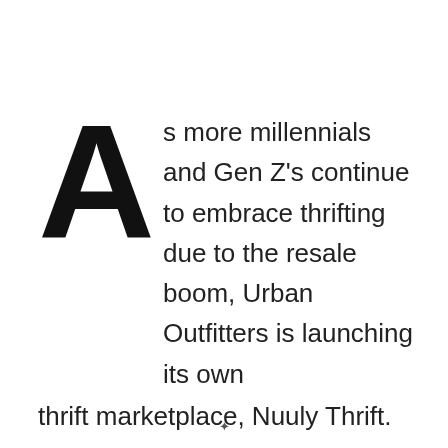As more millennials and Gen Z's continue to embrace thrifting due to the resale boom, Urban Outfitters is launching its own thrift marketplace, Nuuly Thrift.